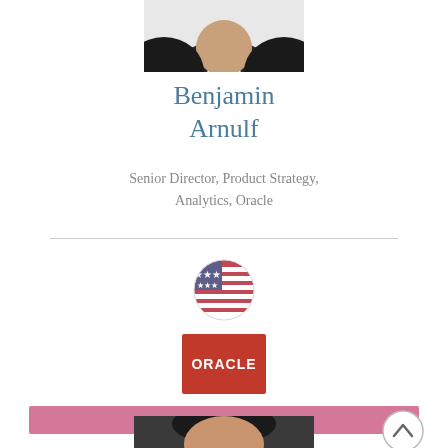[Figure (photo): Top portion of a professional headshot photo cropped at the top of the page — shoulders and lower face visible]
Benjamin Arnulf
Senior Director, Product Strategy, Analytics, Oracle
[Figure (illustration): Circular US flag icon (blurred/stylized)]
[Figure (logo): Oracle company logo — red rectangle with white ORACLE text]
[Figure (illustration): Pink/mauve horizontal bar acting as a section divider]
[Figure (photo): Bottom portion of page showing beginning of next speaker profile photo — dark-haired man in suit]
[Figure (illustration): Circular up-arrow scroll button on right side]